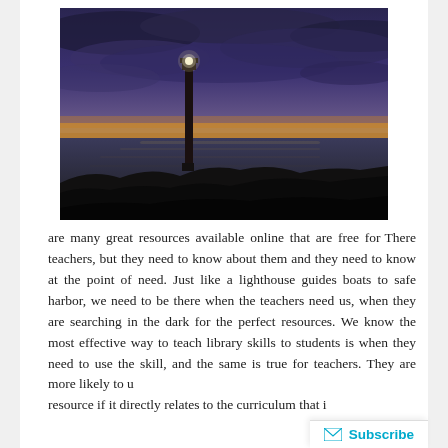[Figure (photo): A lighthouse silhouetted against a dramatic sunset sky with purple, blue, and orange clouds over a calm ocean. Dark foreground with rocks and vegetation.]
There are many great resources available online that are free for teachers, but they need to know about them and they need to know at the point of need. Just like a lighthouse guides boats to safe harbor, we need to be there when the teachers need us, when they are searching in the dark for the perfect resources. We know the most effective way to teach library skills to students is when they need to use the skill, and the same is true for teachers. They are more likely to use a resource if it directly relates to the curriculum that is...